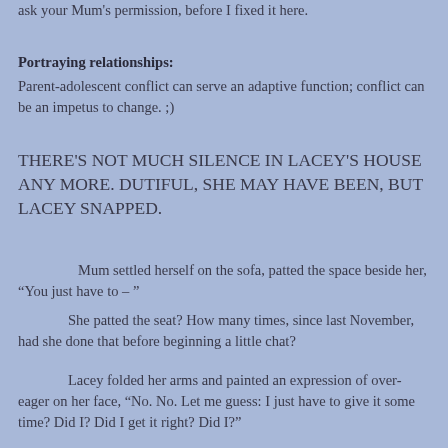ask your Mum's permission, before I fixed it here.
Portraying relationships:
Parent-adolescent conflict can serve an adaptive function; conflict can be an impetus to change. ;)
THERE'S NOT MUCH SILENCE IN LACEY'S HOUSE ANY MORE. DUTIFUL, SHE MAY HAVE BEEN, BUT LACEY SNAPPED.
Mum settled herself on the sofa, patted the space beside her, “You just have to – ”
She patted the seat? How many times, since last November, had she done that before beginning a little chat?
Lacey folded her arms and painted an expression of over-eager on her face, “No. No. Let me guess: I just have to give it some time? Did I? Did I get it right? Did I?”